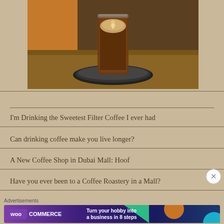[Figure (photo): Photo of a glass of coffee with latte art on top, sitting on a black saucer on a wooden table]
I'm Drinking the Sweetest Filter Coffee I ever had
Can drinking coffee make you live longer?
A New Coffee Shop in Dubai Mall: Hoof
Have you ever been to a Coffee Roastery in a Mall?
Advertisements
[Figure (screenshot): WooCommerce advertisement banner: Turn your hobby into a business in 8 steps]